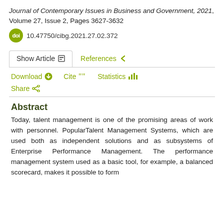Journal of Contemporary Issues in Business and Government, 2021, Volume 27, Issue 2, Pages 3627-3632
doi 10.47750/cibg.2021.27.02.372
Show Article   References
Download   Cite   Statistics
Share
Abstract
Today, talent management is one of the promising areas of work with personnel. PopularTalent Management Systems, which are used both as independent solutions and as subsystems of Enterprise Performance Management. The performance management system used as a basic tool, for example, a balanced scorecard, makes it possible to form